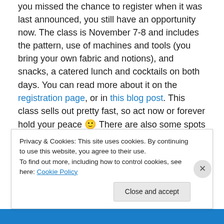you missed the chance to register when it was last announced, you still have an opportunity now. The class is November 7-8 and includes the pattern, use of machines and tools (you bring your own fabric and notions), and snacks, a catered lunch and cocktails on both days. You can read more about it on the registration page, or in this blog post. This class sells out pretty fast, so act now or forever hold your peace 🙂 There are also some spots left for our Garment District shopping trip the day before (11/6), which is a nice addition to the pants class where you can check out the Garment District, learn about
Privacy & Cookies: This site uses cookies. By continuing to use this website, you agree to their use. To find out more, including how to control cookies, see here: Cookie Policy
Close and accept